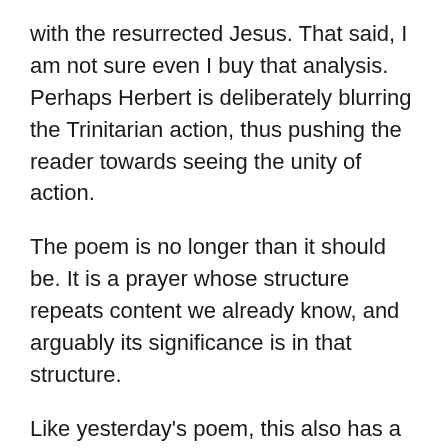with the resurrected Jesus. That said, I am not sure even I buy that analysis. Perhaps Herbert is deliberately blurring the Trinitarian action, thus pushing the reader towards seeing the unity of action.
The poem is no longer than it should be. It is a prayer whose structure repeats content we already know, and arguably its significance is in that structure.
Like yesterday's poem, this also has a counterpart with the same name in W, which as you may recall, is an earlier manuscript of the collection that became The Temple, perhaps written in Herbert's own hand. It follows the poem above, so there are two with the same name in W. In the end, Herbert seems to have decided against the second poem being preserved. Here it is: